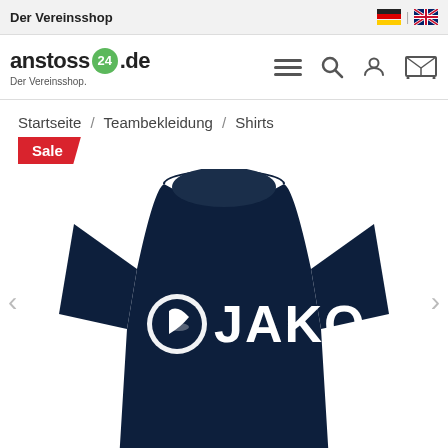Der Vereinsshop
[Figure (logo): anstoss24.de Der Vereinsshop logo with green circle badge showing '24']
Startseite / Teambekleidung / Shirts
Sale
[Figure (photo): Dark navy blue JAKO branded t-shirt with white JAKO logo on chest]